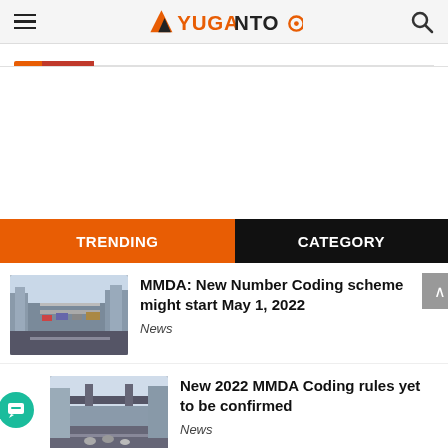YUGAMOTO
[Figure (screenshot): Tab/category indicator bar with orange and red color strips]
[Figure (other): Advertisement blank space]
TRENDING | CATEGORY
[Figure (photo): Traffic scene on an elevated highway with many cars, city buildings in background]
MMDA: New Number Coding scheme might start May 1, 2022
News
[Figure (photo): Street scene with an overpass, motorcycles and buildings]
New 2022 MMDA Coding rules yet to be confirmed
News